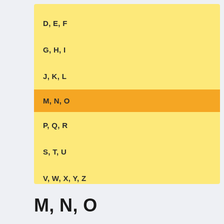D, E, F
G, H, I
J, K, L
M, N, O
P, Q, R
S, T, U
V, W, X, Y, Z
M, N, O